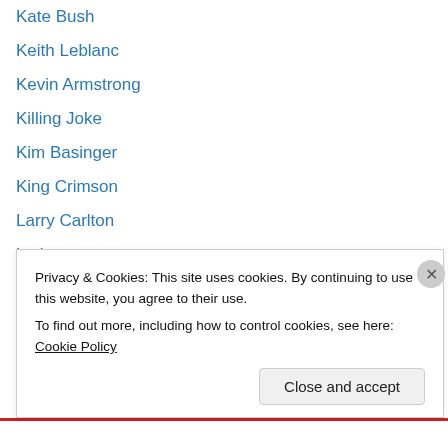Kate Bush
Keith Leblanc
Kevin Armstrong
Killing Joke
Kim Basinger
King Crimson
Larry Carlton
Latin
Laura Branigan
Laurie Anderson
Lee Ritenour
Lenny Henry
Level 42
Light Of The World
Privacy & Cookies: This site uses cookies. By continuing to use this website, you agree to their use.
To find out more, including how to control cookies, see here: Cookie Policy
Close and accept